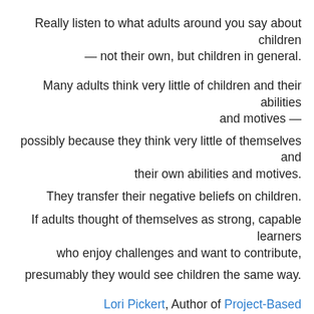Really listen to what adults around you say about children — not their own, but children in general.
Many adults think very little of children and their abilities and motives —
possibly because they think very little of themselves and their own abilities and motives.
They transfer their negative beliefs on children.
If adults thought of themselves as strong, capable learners who enjoy challenges and want to contribute,
presumably they would see children the same way.
Lori Pickert, Author of Project-Based Homeschooling: Mentoring Self-Directed Learners